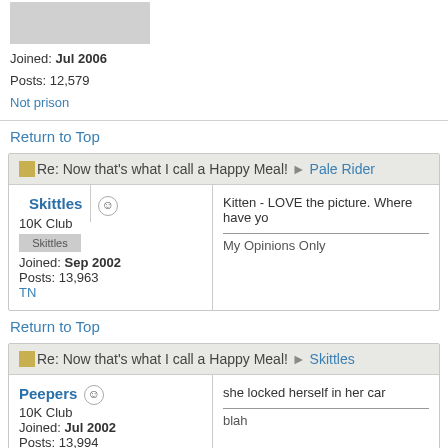Joined: Jul 2006
Posts: 12,579
Not prison
Return to Top
Re: Now that's what I call a Happy Meal! → Pale Rider
Skittles
10K Club
Joined: Sep 2002
Posts: 13,963
TN
Kitten - LOVE the picture. Where have yo...
---
My Opinions Only
Return to Top
Re: Now that's what I call a Happy Meal! → Skittles
Peepers
10K Club
Joined: Jul 2002
Posts: 13,994
she locked herself in her car
---
blah